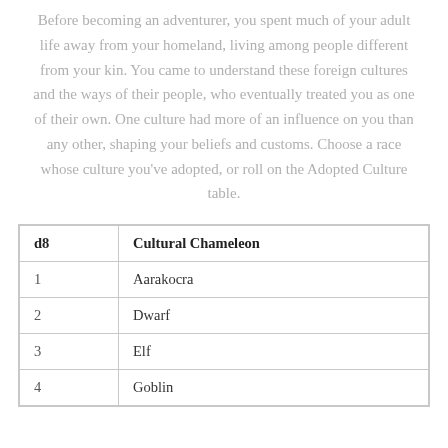Before becoming an adventurer, you spent much of your adult life away from your homeland, living among people different from your kin. You came to understand these foreign cultures and the ways of their people, who eventually treated you as one of their own. One culture had more of an influence on you than any other, shaping your beliefs and customs. Choose a race whose culture you've adopted, or roll on the Adopted Culture table.
| d8 | Cultural Chameleon |
| --- | --- |
| 1 | Aarakocra |
| 2 | Dwarf |
| 3 | Elf |
| 4 | Goblin |